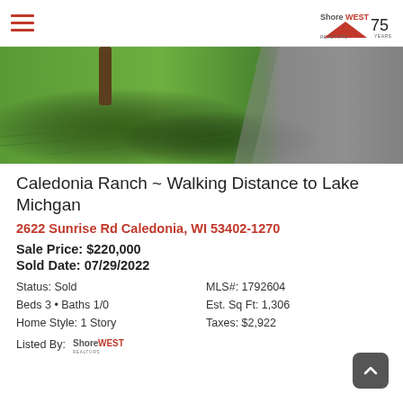Shorewest Realtors - 75 Years
[Figure (photo): Outdoor photo showing green grass lawn with a tree and a gravel/asphalt path on the right side]
Caledonia Ranch ~ Walking Distance to Lake Michgan
2622 Sunrise Rd Caledonia, WI 53402-1270
Sale Price: $220,000
Sold Date: 07/29/2022
Status: Sold
MLS#: 1792604
Beds 3 • Baths 1/0
Est. Sq Ft: 1,306
Home Style: 1 Story
Taxes: $2,922
Listed By: Shorewest